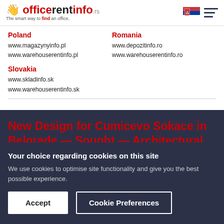officerentinfo.rs — The smart way to find an office.
Poland
www.magazynyinfo.pl
www.warehouserentinfo.pl
Romania
www.depozitinfo.ro
www.warehouserentinfo.ro
Slovakia
www.skladinfo.sk
www.warehouserentinfo.sk
New Design for Cumicevo Sokace in Belgrade — Sought — Architectural
Your choice regarding cookies on this site
We use cookies to optimise site functionality and give you the best possible experience.
Accept
Cookie Preferences